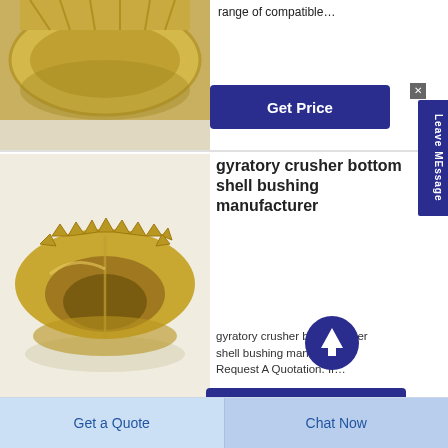[Figure (photo): Gold/brass colored mechanical part (crusher bushing) photographed on white background, top portion visible]
range of compatible…
Get Price
[Figure (photo): Bronze/gold gyratory crusher bottom shell bushing, circular gear-like component photographed from above on white background]
gyratory crusher bottom shell bushing manufacturer
gyratory crusher bottom shell bushing manufacturer Request A Quotation. If…
Get Price
Get a Quote
Chat Now